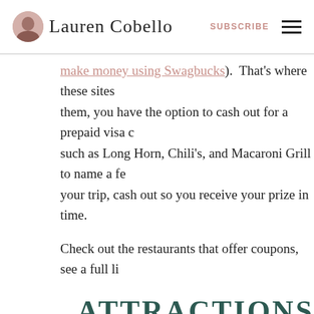Lauren Cobello | SUBSCRIBE
make money using Swagbucks). That's where these sites them, you have the option to cash out for a prepaid visa c such as Long Horn, Chili's, and Macaroni Grill to name a fe your trip, cash out so you receive your prize in time.
Check out the restaurants that offer coupons, see a full li
ATTRACTIONS
I mentioned using Groupon above, but there are also othe during your vacation. Before you leave home, do a search the attractions that you plan to visit. Check out their Face running any promotions. Call and ask them if they have a obtain one. You may be surprised at all the options out th